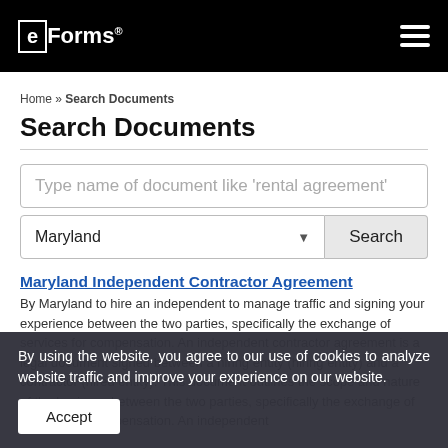eForms®
Home » Search Documents
Search Documents
Type name of document like 'rental agreement'
Maryland  Search
Maryland Independent Contractor Agreement
By Maryland to hire an independent to manage traffic and signing your experience between the two parties, specifically the exchange of services for compensation. An independent contractor agreement is a legal document signed between a hiring entity (hiring entity) and a contractor (hired entity). This document outlines the scope and nature of the business between the two parties, specifically the exchange of services for compensation. An independent
By using the website, you agree to our use of cookies to analyze website traffic and improve your experience on our website.
Accept